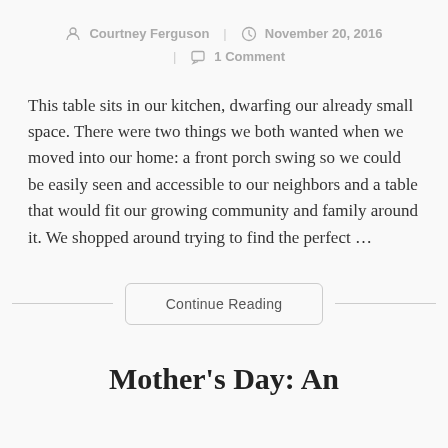Courtney Ferguson | November 20, 2016 | 1 Comment
This table sits in our kitchen, dwarfing our already small space. There were two things we both wanted when we moved into our home: a front porch swing so we could be easily seen and accessible to our neighbors and a table that would fit our growing community and family around it. We shopped around trying to find the perfect ...
Continue Reading
Mother's Day: An